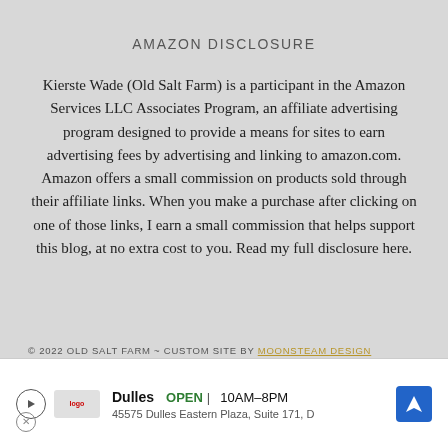AMAZON DISCLOSURE
Kierste Wade (Old Salt Farm) is a participant in the Amazon Services LLC Associates Program, an affiliate advertising program designed to provide a means for sites to earn advertising fees by advertising and linking to amazon.com. Amazon offers a small commission on products sold through their affiliate links. When you make a purchase after clicking on one of those links, I earn a small commission that helps support this blog, at no extra cost to you. Read my full disclosure here.
© 2022 OLD SALT FARM ~ CUSTOM SITE BY MOONSTEAM DESIGN
AN ELITE CAFEMEDIA HOME/DIY PUBLISHER
[Figure (other): Advertisement banner: Dulles store, OPEN 10AM-8PM, 45575 Dulles Eastern Plaza, Suite 171, D]